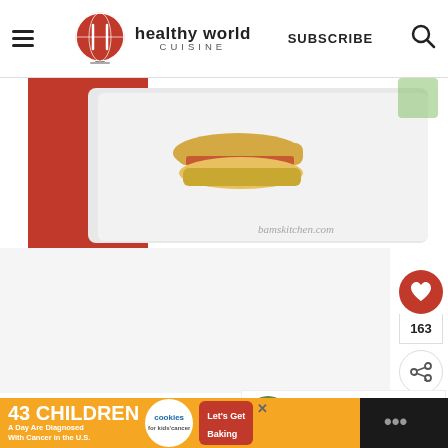healthy world CUISINE
[Figure (photo): Close-up food photo of a burger/sandwich on a white plate with red background, watermark bamskitchen.com]
163
WHAT'S NEXT → Essential Thai Herbs and...
[Figure (photo): Grocery Worker's Appreciation Fund advertisement with Kendall Jackson and United Way logos]
[Figure (photo): 43 Children A Day Are Diagnosed With Cancer in the U.S. - cookies for kids cancer Let's Get Baking advertisement]